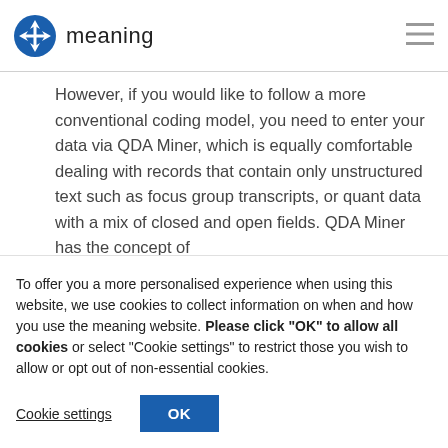meaning
However, if you would like to follow a more conventional coding model, you need to enter your data via QDA Miner, which is equally comfortable dealing with records that contain only unstructured text such as focus group transcripts, or quant data with a mix of closed and open fields. QDA Miner has the concept of
To offer you a more personalised experience when using this website, we use cookies to collect information on when and how you use the meaning website. Please click "OK" to allow all cookies or select "Cookie settings" to restrict those you wish to allow or opt out of non-essential cookies.
Cookie settings
OK